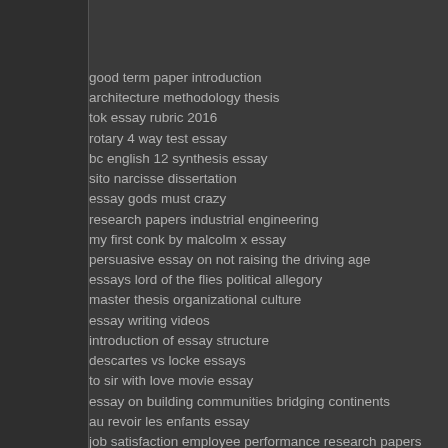good term paper introduction
architecture methodology thesis
tok essay rubric 2016
rotary 4 way test essay
bc english 12 synthesis essay
sito narcisse dissertation
essay gods must crazy
research papers industrial engineering
my first conk by malcolm x essay
persuasive essay on not raising the driving age
essays lord of the flies political allegory
master thesis organizational culture
essay writing videos
introduction of essay structure
descartes vs locke essays
to sir with love movie essay
essay on building communities bridging continents
au revoir les enfants essay
job satisfaction employee performance research papers
essay basketball history
essay silver lining
informative essays about the pheonix bird
discursive essay conventions
personal reflection essay on racism
essay writing competitions for high school students 2016
teen suicide research paper